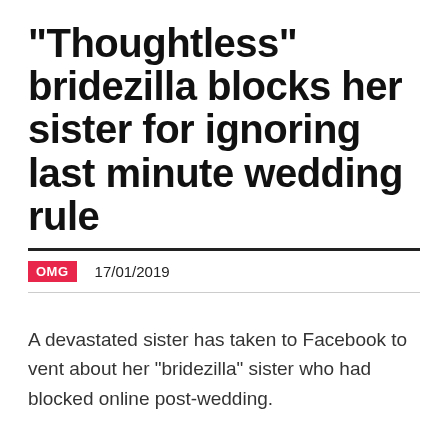"Thoughtless" bridezilla blocks her sister for ignoring last minute wedding rule
OMG   17/01/2019
A devastated sister has taken to Facebook to vent about her "bridezilla" sister who had blocked online post-wedding.
In the emotional post, the sister revealed that